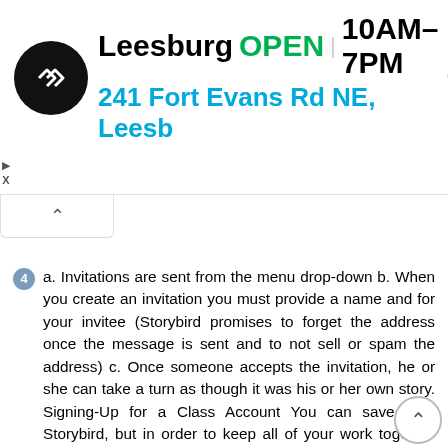[Figure (screenshot): Ad banner showing a store logo (black circle with double arrow icon), text 'Leesburg OPEN 10AM–7PM' and address '241 Fort Evans Rd NE, Leesb' with a blue navigation diamond icon on the right. Small play and X icons on the left side.]
4  a. Invitations are sent from the menu drop-down b. When you create an invitation you must provide a name and for your invitee (Storybird promises to forget the address once the message is sent and to not sell or spam the address) c. Once someone accepts the invitation, he or she can take a turn as though it was his or her own story. Signing-Up for a Class Account You can save your Storybird, but in order to keep all of your work together you should sign up for an account. To sign up for your account navigate to and select the sign up link in the top right hand corner of the screen (if you click sign in you are still presented with an option to sign up at the bottom of